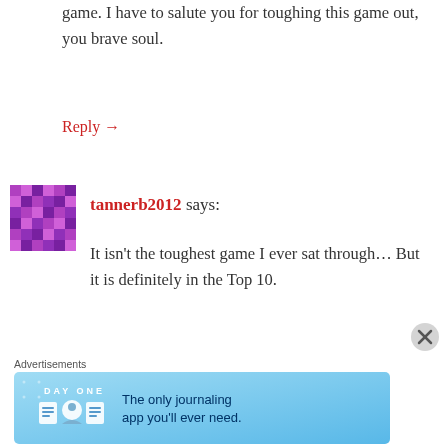game. I have to salute you for toughing this game out, you brave soul.
Reply →
[Figure (illustration): Purple pixel/mosaic pattern avatar icon for user tannerb2012]
tannerb2012 says:
It isn't the toughest game I ever sat through... But it is definitely in the Top 10.
Reply →
Advertisements
[Figure (screenshot): Day One journaling app advertisement banner — 'The only journaling app you'll ever need.']